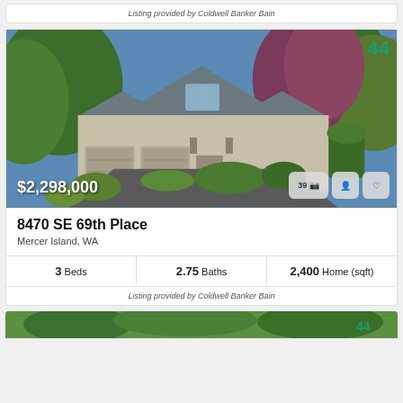Listing provided by Coldwell Banker Bain
[Figure (photo): Exterior photo of a large two-story craftsman-style home with three-car garage, lush landscaping, green and red-leafed trees, blue sky. Price overlay: $2,298,000. Badge: 44. Buttons: 39 photos, agent, favorite.]
8470 SE 69th Place
Mercer Island, WA
| 3 Beds | 2.75 Baths | 2,400 Home (sqft) |
| --- | --- | --- |
Listing provided by Coldwell Banker Bain
[Figure (photo): Partial view of another home listing photo, showing trees and green foliage at the bottom of the page.]